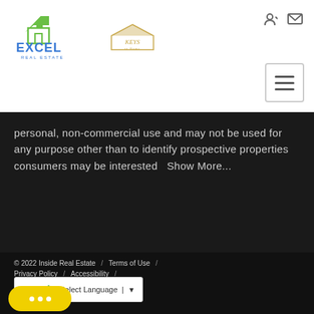[Figure (logo): Excel Real Estate logo with green house icon and text, alongside Keys brand logo]
personal, non-commercial use and may not be used for any purpose other than to identify prospective properties consumers may be interested   Show More...
© 2022 Inside Real Estate  /  Terms of Use  /  Privacy Policy  /  Accessibility  /  Fair Housing Statement  /  [Equal Housing Opportunity logo]  /
[Figure (screenshot): Google Translate Select Language widget]
[Figure (other): Yellow chat bubble button with three dots]